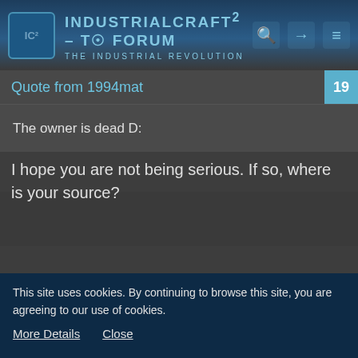IndustrialCraft² - The Forum - The Industrial Revolution
Quote from 1994mat
The owner is dead D:
I hope you are not being serious. If so, where is your source?
1994mat
Tree Cutter
Jan 15th 2012
This site uses cookies. By continuing to browse this site, you are agreeing to our use of cookies.
More Details   Close